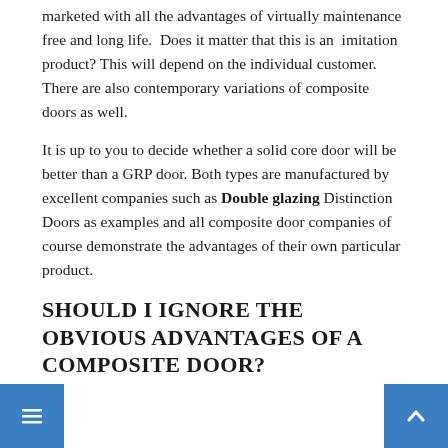marketed with all the advantages of virtually maintenance free and long life.  Does it matter that this is an  imitation product? This will depend on the individual customer.  There are also contemporary variations of composite doors as well.
It is up to you to decide whether a solid core door will be better than a GRP door. Both types are manufactured by excellent companies such as Double glazing Distinction Doors as examples and all composite door companies of course demonstrate the advantages of their own particular product.
SHOULD I IGNORE THE OBVIOUS ADVANTAGES OF A COMPOSITE DOOR?